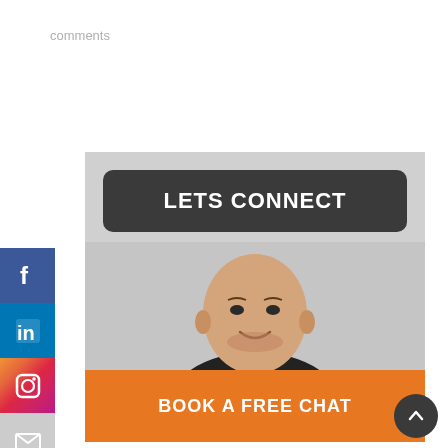comments
[Figure (illustration): Social media sidebar with Facebook, LinkedIn, Instagram, and email icons stacked vertically on the left side]
[Figure (photo): A bald man in a black jacket smiling, shown from shoulders up against a grey background. Above is a dark rounded button reading LETS CONNECT, below is an orange button reading BOOK A FREE CHAT.]